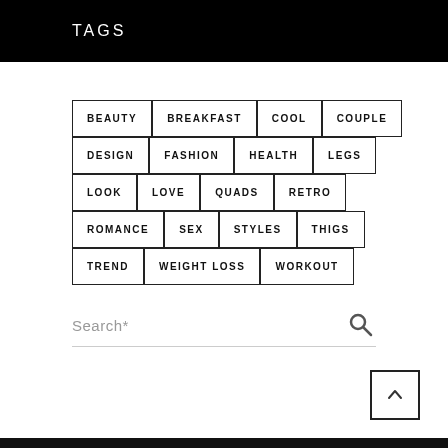TAGS
BEAUTY
BREAKFAST
COOL
COUPLE
DESIGN
FASHION
HEALTH
LEGS
LOOK
LOVE
QUADS
RETRO
ROMANCE
SEX
STYLES
THIGS
TREND
WEIGHT LOSS
WORKOUT
Search*